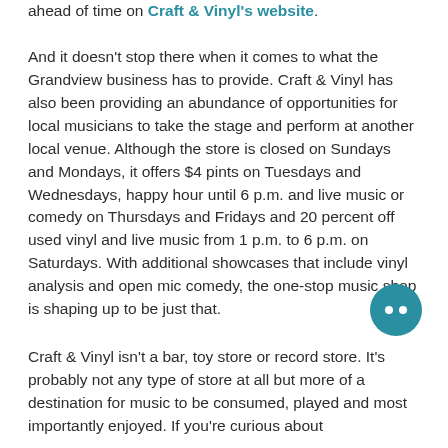ahead of time on Craft & Vinyl's website. And it doesn't stop there when it comes to what the Grandview business has to provide. Craft & Vinyl has also been providing an abundance of opportunities for local musicians to take the stage and perform at another local venue. Although the store is closed on Sundays and Mondays, it offers $4 pints on Tuesdays and Wednesdays, happy hour until 6 p.m. and live music or comedy on Thursdays and Fridays and 20 percent off used vinyl and live music from 1 p.m. to 6 p.m. on Saturdays. With additional showcases that include vinyl analysis and open mic comedy, the one-stop music shop is shaping up to be just that.
Craft & Vinyl isn't a bar, toy store or record store. It's probably not any type of store at all but more of a destination for music to be consumed, played and most importantly enjoyed. If you're curious about
[Figure (illustration): Teal circular chat bubble icon]